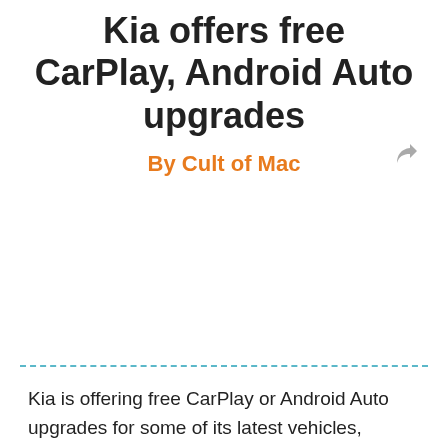Kia offers free CarPlay, Android Auto upgrades
By Cult of Mac
[Figure (other): Empty image placeholder area]
Kia is offering free CarPlay or Android Auto upgrades for some of its latest vehicles, allowing drivers to get their hands on the smartest in-car